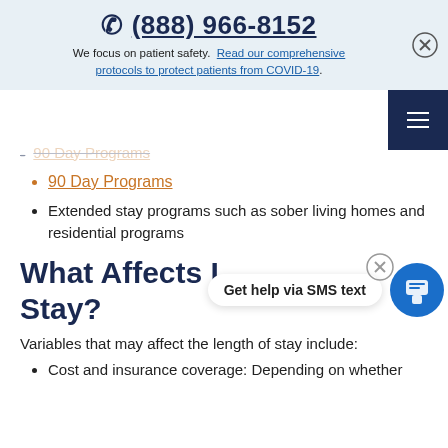📞 (888) 966-8152
We focus on patient safety. Read our comprehensive protocols to protect patients from COVID-19.
90 Day Programs (struck-through)
90 Day Programs
Extended stay programs such as sober living homes and residential programs
What Affects Length of Stay?
Variables that may affect the length of stay include:
Cost and insurance coverage: Depending on whether